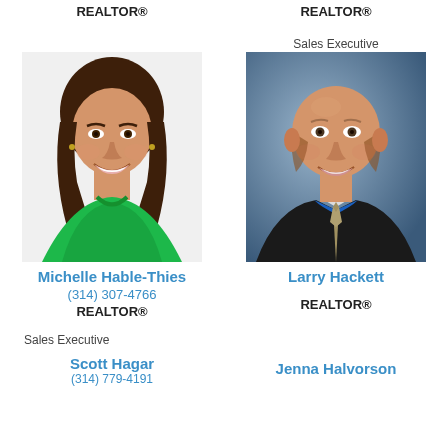REALTOR®
REALTOR®
Sales Executive
[Figure (photo): Professional headshot of Michelle Hable-Thies, a woman with long brown hair wearing a green top, smiling]
[Figure (photo): Professional headshot of Larry Hackett, a bald man in a dark suit with blue shirt and tie, smiling]
Michelle Hable-Thies
(314) 307-4766
REALTOR®
Larry Hackett
REALTOR®
Sales Executive
Scott Hagar
Jenna Halvorson
(314) 779-4191